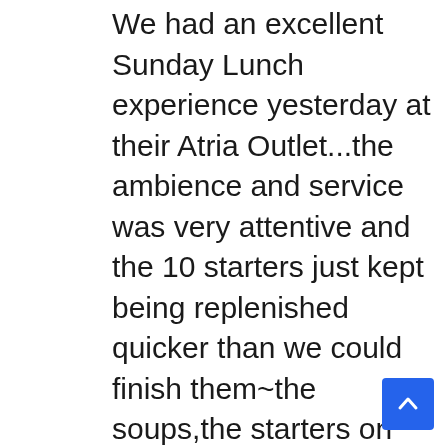We had an excellent Sunday Lunch experience yesterday at their Atria Outlet...the ambience and service was very attentive and the 10 starters just kept being replenished quicker than we could finish them~the soups,the starters on skewers at your table grill,the main course and the desserts were outstanding.....daughter was celebrating her 18th Birthday with 12 friends and our Son at one table and we were deliberately seated at another....though we had arranged our own cake,they too gave us a complimentary one as well as a